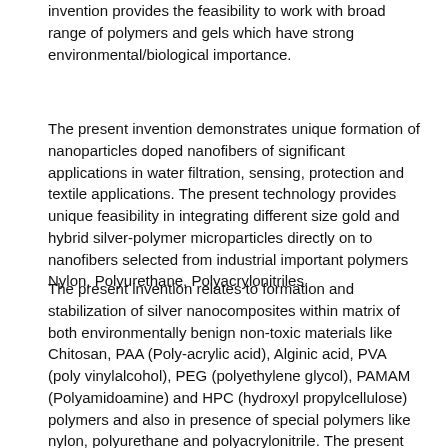invention provides the feasibility to work with broad range of polymers and gels which have strong environmental/biological importance.
The present invention demonstrates unique formation of nanoparticles doped nanofibers of significant applications in water filtration, sensing, protection and textile applications. The present technology provides unique feasibility in integrating different size gold and hybrid silver-polymer microparticles directly on to nanofibers selected from industrial important polymers Nylon, Polyurethane, Polyacrylonitriles.
The present invention relates to formation and stabilization of silver nanocomposites within matrix of both environmentally benign non-toxic materials like Chitosan, PAA (Poly-acrylic acid), Alginic acid, PVA (poly vinylalcohol), PEG (polyethylene glycol), PAMAM (Polyamidoamine) and HPC (hydroxyl propylcellulose) polymers and also in presence of special polymers like nylon, polyurethane and polyacrylonitrile. The present invention uses both aqueous and organic solvents as reaction medium depending on application interest but in complete absence of any reducing agents in a single step